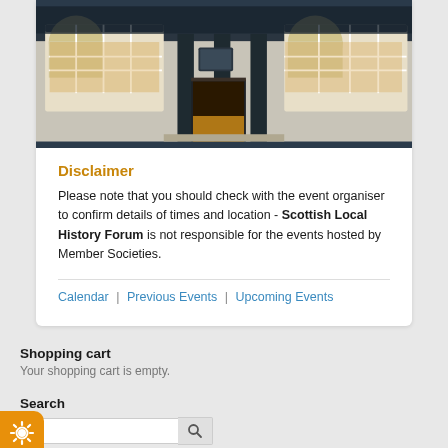[Figure (photo): Exterior of a historic building with arched windows, columns, and a lit doorway at dusk]
Disclaimer
Please note that you should check with the event organiser to confirm details of times and location - Scottish Local History Forum is not responsible for the events hosted by Member Societies.
Calendar | Previous Events | Upcoming Events
Shopping cart
Your shopping cart is empty.
Search